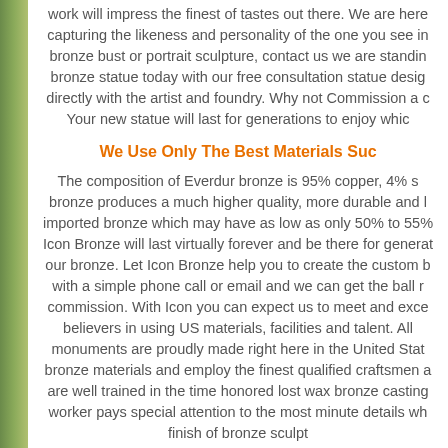work will impress the finest of tastes out there. We are here capturing the likeness and personality of the one you see in bronze bust or portrait sculpture, contact us we are standing bronze statue today with our free consultation statue design directly with the artist and foundry. Why not Commission a custom Your new statue will last for generations to enjoy which
We Use Only The Best Materials Suc
The composition of Everdur bronze is 95% copper, 4% s bronze produces a much higher quality, more durable and l imported bronze which may have as low as only 50% to 55% Icon Bronze will last virtually forever and be there for genera our bronze. Let Icon Bronze help you to create the custom b with a simple phone call or email and we can get the ball r commission. With Icon you can expect us to meet and exce believers in using US materials, facilities and talent. Al monuments are proudly made right here in the United Stat bronze materials and employ the finest qualified craftsmen a are well trained in the time honored lost wax bronze casting worker pays special attention to the most minute details wh finish of bronze sculpt
With bronze sculpture the possib